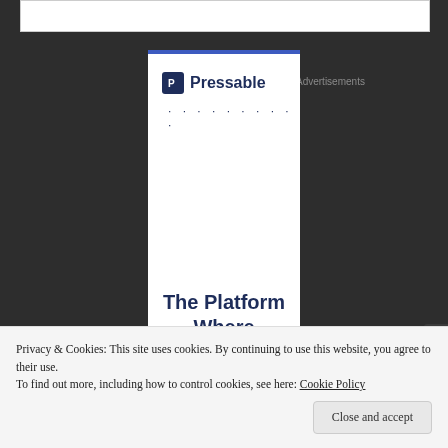Advertisements
[Figure (logo): Pressable logo with blue square icon containing P letter and brand name text, followed by dotted separator line, and heading text 'The Platform Where']
Privacy & Cookies: This site uses cookies. By continuing to use this website, you agree to their use.
To find out more, including how to control cookies, see here: Cookie Policy
Close and accept